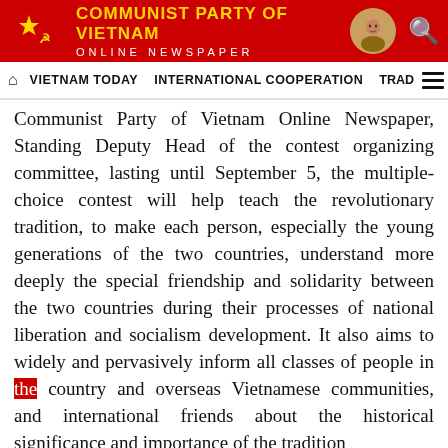COMMUNIST PARTY OF VIETNAM ONLINE NEWSPAPER
VIETNAM TODAY   INTERNATIONAL COOPERATION   TRAD
Communist Party of Vietnam Online Newspaper, Standing Deputy Head of the contest organizing committee, lasting until September 5, the multiple-choice contest will help teach the revolutionary tradition, to make each person, especially the young generations of the two countries, understand more deeply the special friendship and solidarity between the two countries during their processes of national liberation and socialism development. It also aims to widely and pervasively inform all classes of people in the country and overseas Vietnamese communities, and international friends about the historical significance and importance of the tradition...